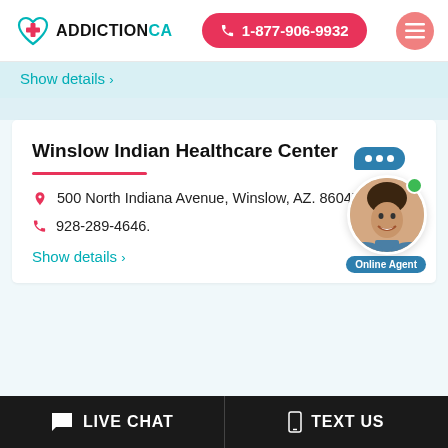[Figure (logo): AddictionCA logo with teal heart and red cross icon, and site name in black with teal 'CA' portion]
[Figure (other): Red pill-shaped button with phone icon and number 1-877-906-9932]
[Figure (other): Pink/red circular hamburger menu button]
Show details >
Winslow Indian Healthcare Center
500 North Indiana Avenue, Winslow, AZ. 86047
928-289-4646.
Show details >
[Figure (photo): Chat widget with blue speech bubble with three dots, photo of smiling man, green online indicator dot, and 'Online Agent' label]
LIVE CHAT
TEXT US